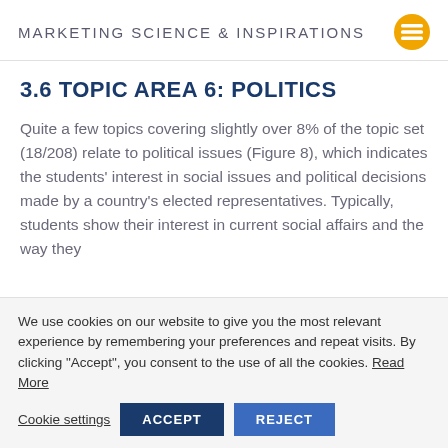MARKETING SCIENCE & INSPIRATIONS
3.6 TOPIC AREA 6: POLITICS
Quite a few topics covering slightly over 8% of the topic set (18/208) relate to political issues (Figure 8), which indicates the students' interest in social issues and political decisions made by a country's elected representatives. Typically, students show their interest in current social affairs and the way they
We use cookies on our website to give you the most relevant experience by remembering your preferences and repeat visits. By clicking “Accept”, you consent to the use of all the cookies. Read More
Cookie settings | ACCEPT | REJECT